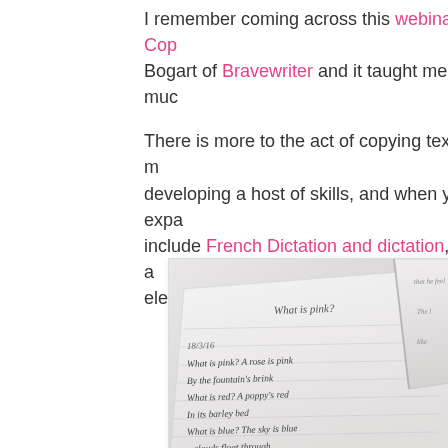I remember coming across this webinar on Cop… Bogart of Bravewriter and it taught me so muc…
There is more to the act of copying text than m… developing a host of skills, and when you expa… include French Dictation and dictation, you're a… element of learning to the task.
[Figure (photo): Photo of a notebook with handwritten text, showing a child's copywork/dictation exercise. The page reads 'What is pink?' followed by lines including 'What is pink? A rose is pink', 'By the fountain's brink', 'What is red? A poppy's red', 'In its barley bed', 'What is blue? The sky is blue', and partially visible text. A second open book is visible in the background.]